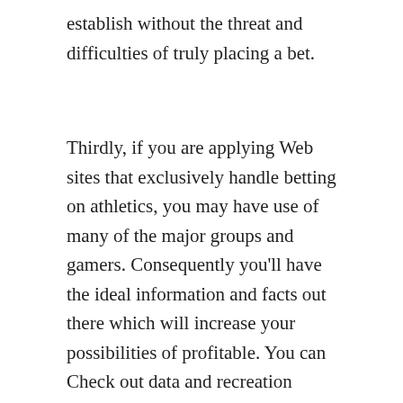establish without the threat and difficulties of truly placing a bet.
Thirdly, if you are applying Web sites that exclusively handle betting on athletics, you may have use of many of the major groups and gamers. Consequently you'll have the ideal information and facts out there which will increase your possibilities of profitable. You can Check out data and recreation studies on players that will give you an concept of who to guess on. Furthermore, it implies that you can opt for players with greater skills and talent and so boost your chances of profitable.